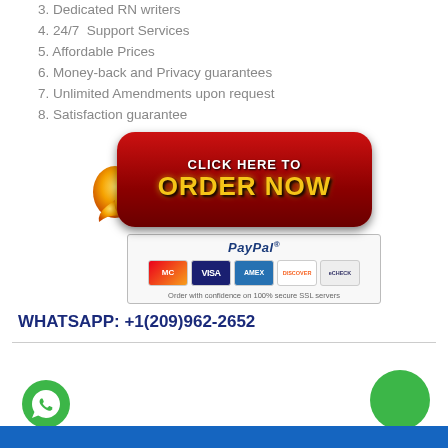3. Dedicated RN writers
4. 24/7  Support Services
5. Affordable Prices
6. Money-back and Privacy guarantees
7. Unlimited Amendments upon request
8. Satisfaction guarantee
[Figure (illustration): Red pill-shaped button with white text 'Click Here To' and gold text 'Order Now', with an orange arrow and PayPal payment panel below showing MasterCard, Visa, AMEX, Discover, eCheck cards and 'Order with confidence on 100% secure SSL servers' text]
WHATSAPP: +1(209)962-2652
[Figure (illustration): WhatsApp phone icon (bottom left) and green circle (bottom right), with a blue footer bar]